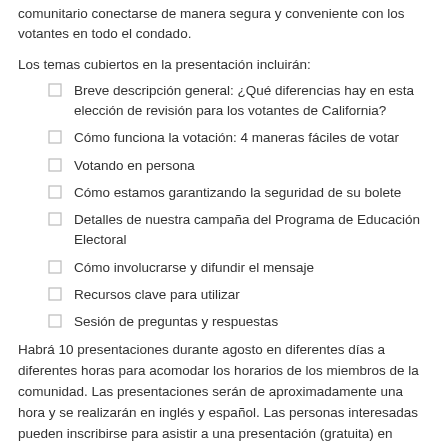comunitario conectarse de manera segura y conveniente con los votantes en todo el condado.
Los temas cubiertos en la presentación incluirán:
Breve descripción general: ¿Qué diferencias hay en esta elección de revisión para los votantes de California?
Cómo funciona la votación: 4 maneras fáciles de votar
Votando en persona
Cómo estamos garantizando la seguridad de su bolete
Detalles de nuestra campaña del Programa de Educación Electoral
Cómo involucrarse y difundir el mensaje
Recursos clave para utilizar
Sesión de preguntas y respuestas
Habrá 10 presentaciones durante agosto en diferentes días a diferentes horas para acomodar los horarios de los miembros de la comunidad. Las presentaciones serán de aproximadamente una hora y se realizarán en inglés y español. Las personas interesadas pueden inscribirse para asistir a una presentación (gratuita) en http://sbcountyelections.eventbrite.com. Para obtener más información, visite ROV en línea en